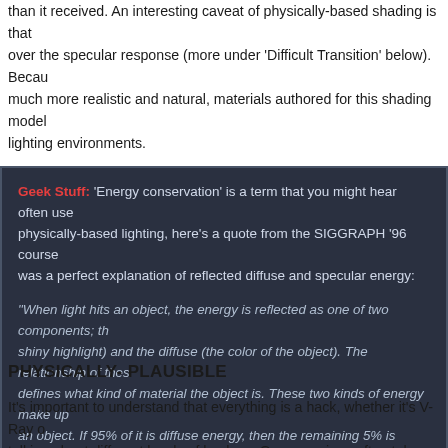than it received. An interesting caveat of physically-based shading is that over the specular response (more under 'Difficult Transition' below). Because much more realistic and natural, materials authored for this shading model lighting environments.
Geek Stuff: 'Energy conservation' is a term that you might hear often used physically-based lighting, here's a quote from the SIGGRAPH '96 course was a perfect explanation of reflected diffuse and specular energy: "When light hits an object, the energy is reflected as one of two components; the shiny highlight) and the diffuse (the color of the object). The relationship of these defines what kind of material the object is. These two kinds of energy make up an object. If 95% of it is diffuse energy, then the remaining 5% is specular energy. increases, the diffuse component drops, and vice versa. A ping pong ball is considered an object, with very little specularity and lots of diffuse, and a mirror is thought of as specularity, and almost no diffuse."
PHYSICALLY- PLAUSIBLE
It's important to understand that everything is a hack, whether it's V-Ray or talking about different levels of hackery. Game engines often take the cake hacks, one of my guys once said 'Some people just remove spec maps from sudden they're 'physically-based". It's not just the way our renderers simulate